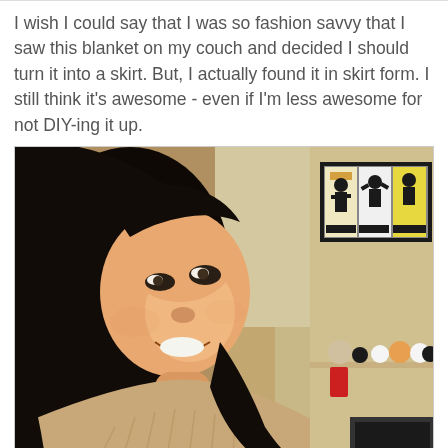I wish I could say that I was so fashion savvy that I saw this blanket on my couch and decided I should turn it into a skirt. But, I actually found it in skirt form. I still think it's awesome - even if I'm less awesome for not DIY-ing it up.
[Figure (photo): Portrait photo of a young woman with dark hair and bangs, smiling sideways at the camera. She is wearing a beige/tan knit sweater. In the background is a warm-toned room with a framed art print on the wall featuring black silhouette figures on yellow/white panels, and some small decorative objects on a shelf.]